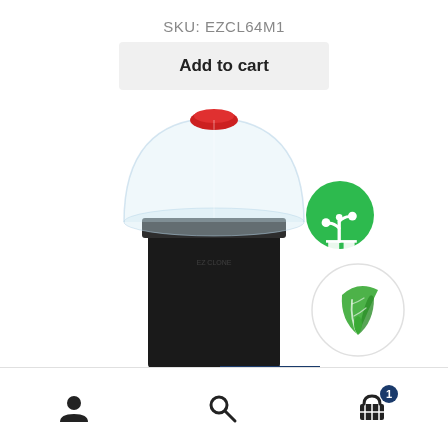SKU: EZCL64M1
Add to cart
[Figure (photo): E-commerce product page screenshot showing a black square container with a transparent dome lid and red cap, with two green eco/plant icons on the right side, and a bottom navigation bar with user, search, and cart icons.]
Bottom navigation bar with user icon, search icon, and shopping cart icon with badge showing 1 item